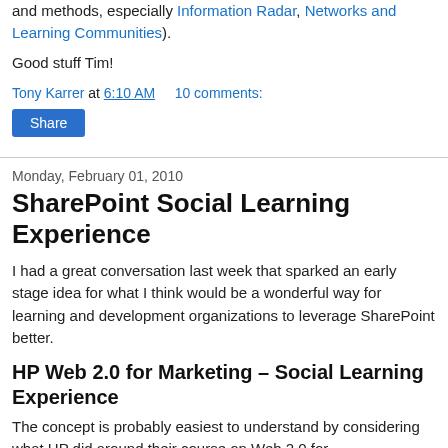and methods, especially Information Radar, Networks and Learning Communities).
Good stuff Tim!
Tony Karrer at 6:10 AM    10 comments:
Share
Monday, February 01, 2010
SharePoint Social Learning Experience
I had a great conversation last week that sparked an early stage idea for what I think would be a wonderful way for learning and development organizations to leverage SharePoint better.
HP Web 2.0 for Marketing – Social Learning Experience
The concept is probably easiest to understand by considering what HP did around their course on Web 2.0 for